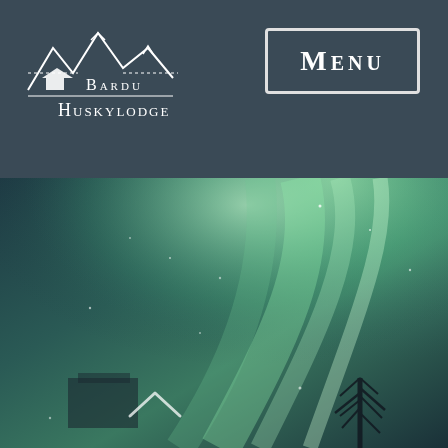[Figure (logo): Bardu Huskylodge logo with mountain silhouette and decorative lines]
Menu
[Figure (photo): Aurora borealis (northern lights) filling the sky in green and teal, with a bare tree silhouette at the bottom right and scattered stars]